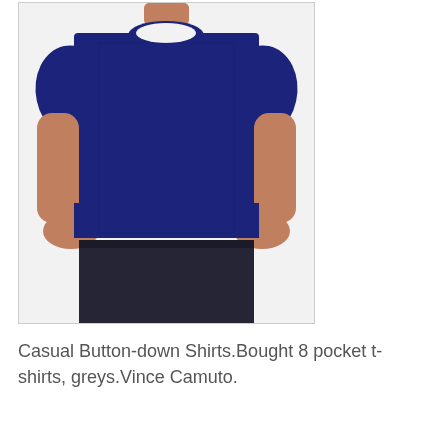[Figure (photo): A man wearing a navy blue crew-neck t-shirt with hands in pockets, shown from the neck down to mid-thigh against a light background]
Casual Button-down Shirts.Bought 8 pocket t-shirts, greys.Vince Camuto.